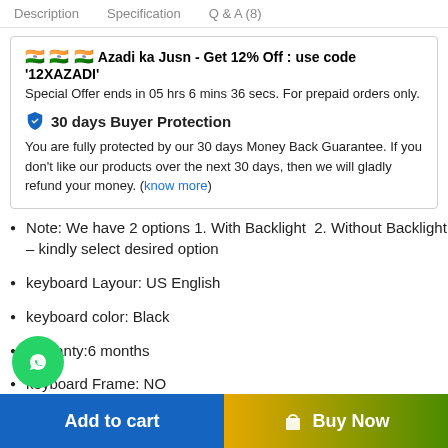Description   Specification   Q & A (8)
🇮🇳 🇮🇳 🇮🇳 Azadi ka Jusn - Get 12% Off : use code '12XAZADI'
Special Offer ends in 05 hrs 6 mins 36 secs. For prepaid orders only.
🛡 30 days Buyer Protection
You are fully protected by our 30 days Money Back Guarantee. If you don't like our products over the next 30 days, then we will gladly refund your money. (know more)
Note: We have 2 options 1. With Backlight  2. Without Backlight – kindly select desired option
keyboard Layour: US English
keyboard color: Black
warranty:6 months
keyboard Frame: NO
Check Availability
Add to cart   Buy Now